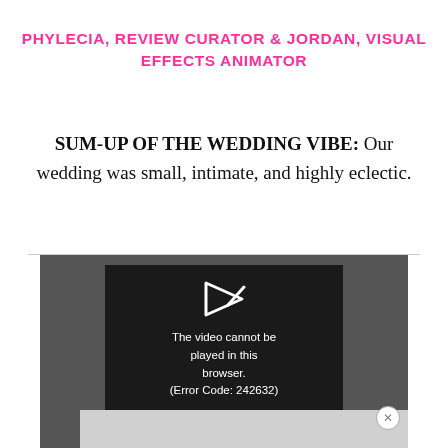PHYLECIA, REVIEW CURATOR  & JORDAN, VISUAL EFFECTS ANIMATOR
SUM-UP OF THE WEDDING VIBE: Our wedding was small, intimate, and highly eclectic.
[Figure (screenshot): Video player showing error message: 'The video cannot be played in this browser. (Error Code: 242632)' with a play icon above it, on a dark background with gray surround and a close button.]